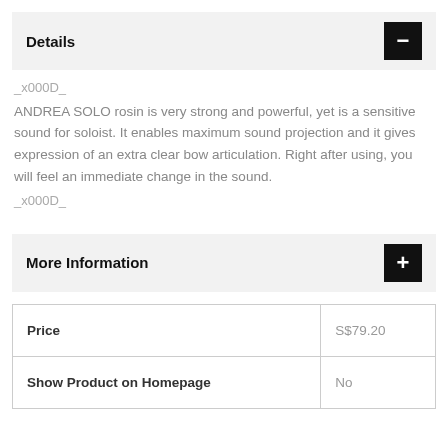Details
_x000D_
ANDREA SOLO rosin is very strong and powerful, yet is a sensitive sound for soloist. It enables maximum sound projection and it gives expression of an extra clear bow articulation. Right after using, you will feel an immediate change in the sound.
_x000D_
More Information
|  |  |
| --- | --- |
| Price | S$79.20 |
| Show Product on Homepage | No |